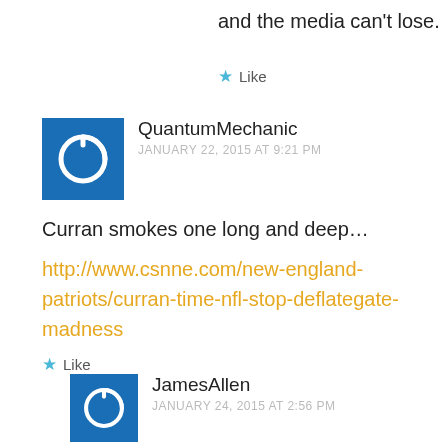and the media can't lose.
Like
QuantumMechanic
JANUARY 22, 2015 AT 9:21 PM
Curran smokes one long and deep…
http://www.csnne.com/new-england-patriots/curran-time-nfl-stop-deflategate-madness
Like
JamesAllen
JANUARY 24, 2015 AT 2:56 PM